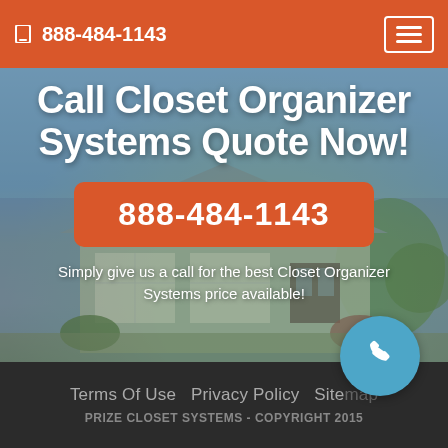888-484-1143
Call Closet Organizer Systems Quote Now!
888-484-1143
Simply give us a call for the best Closet Organizer Systems price available!
[Figure (photo): Exterior photo of a suburban house with garage, landscaping in background]
Terms Of Use  Privacy Policy  Sitemap
PRIZE CLOSET SYSTEMS - COPYRIGHT 2015